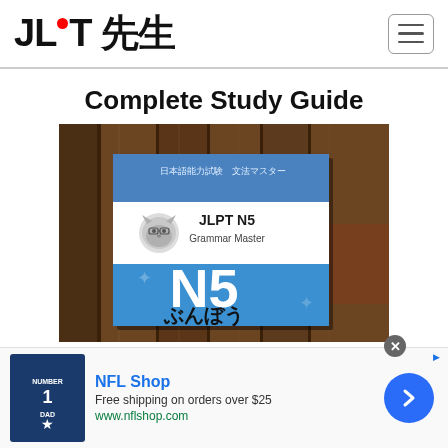JLPT 先生
Complete Study Guide
[Figure (photo): JLPT N5 Grammar Master book cover showing 'N5 ぶんぼう' text on blue background, placed on wooden surface. Book header reads '日本語能力試験　文法マスター' with a cartoon cat/wolf logo.]
NFL Shop
Free shipping on orders over $25
www.nflshop.com